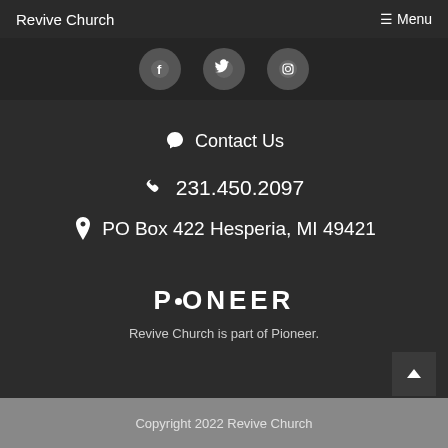Revive Church   ≡ Menu
[Figure (illustration): Three circular social media icon buttons (Facebook, Twitter, Instagram) on dark background]
💬 Contact Us
📞 231.450.2097
📍 PO Box 422 Hesperia, MI 49421
PIONEER
Revive Church is part of Pioneer.
Copyright 2022 Revive Church